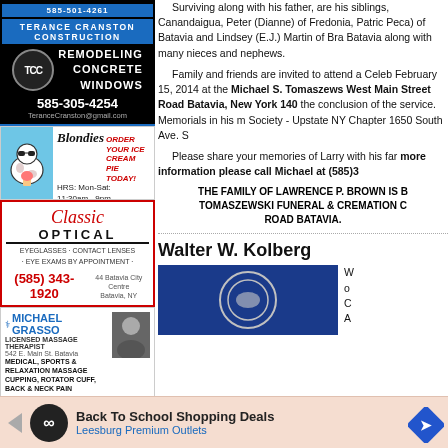[Figure (advertisement): Terance Cranston Construction ad — Remodeling, Concrete, Windows, phone 585-305-4254, TeranceCranston@gmail.com]
[Figure (advertisement): Blondies ice cream ad — Order Your Ice Cream Pie Today! HRS Mon-Sat 11:30am-9pm Sun 1-9pm, 670 E. Main St. Batavia, 585-487-4636]
[Figure (advertisement): Classic Optical ad — Eyeglasses, Contact Lenses, Eye Exams by Appointment. (585) 343-1920, 44 Batavia City Centre, Batavia NY]
[Figure (advertisement): Michael Grasso Licensed Massage Therapist — 542 E. Main St. Batavia, Medical Sports & Relaxation Massage, Cupping Rotator Cuff Back & Neck Pain. Cell 585-356-2350 Bus Ph 585-343-5311]
[Figure (advertisement): Harris Wilcox Inc. red banner advertisement]
Surviving along with his father, are his siblings, Canandaigua, Peter (Dianne) of Fredonia, Patric Peca) of Batavia and Lindsey (E.J.) Martin of Bra Batavia along with many nieces and nephews.
Family and friends are invited to attend a Celeb February 15, 2014 at the Michael S. Tomaszews West Main Street Road Batavia, New York 140 the conclusion of the service. Memorials in his m Society - Upstate NY Chapter 1650 South Ave. S
Please share your memories of Larry with his far more information please call Michael at (585)3
THE FAMILY OF LAWRENCE P. BROWN IS B TOMASZEWSKI FUNERAL & CREMATION C ROAD BATAVIA.
Walter W. Kolberg
[Figure (photo): Photo with blue background and circular emblem/logo]
W o C A
[Figure (advertisement): Back To School Shopping Deals — Leesburg Premium Outlets banner ad]